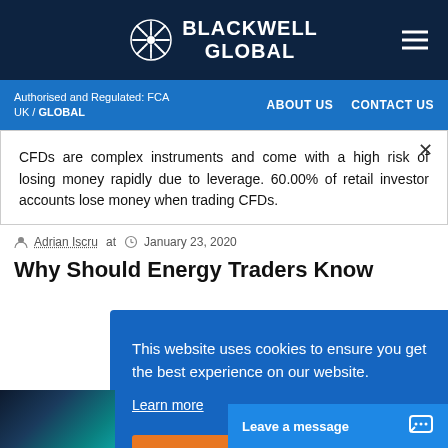BLACKWELL GLOBAL
Authorised and Regulated: FCA UK / GLOBAL | ABOUT US | CONTACT US
CFDs are complex instruments and come with a high risk of losing money rapidly due to leverage. 60.00% of retail investor accounts lose money when trading CFDs.
Adrian Iscru at January 23, 2020
Why Should Energy Traders Know
This website uses cookies to ensure you get the best experience on our website. Learn more
Got it!
Leave a message